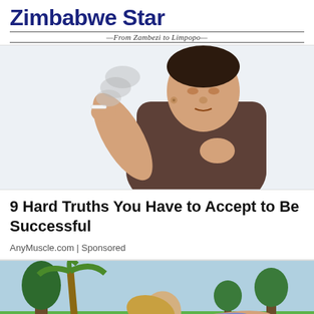Zimbabwe Star — From Zambezi to Limpopo —
[Figure (photo): Man holding a cigarette with smoke, clutching his chest, wearing a brown t-shirt, white background]
9 Hard Truths You Have to Accept to Be Successful
AnyMuscle.com | Sponsored
[Figure (photo): Woman doing yoga or stretching outdoors on grass with trees in background, viewed from a low angle showing bare feet in foreground]